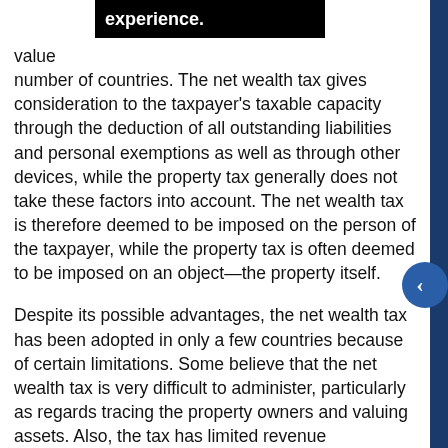value experience. number of countries. The net wealth tax gives consideration to the taxpayer's taxable capacity through the deduction of all outstanding liabilities and personal exemptions as well as through other devices, while the property tax generally does not take these factors into account. The net wealth tax is therefore deemed to be imposed on the person of the taxpayer, while the property tax is often deemed to be imposed on an object—the property itself.
Despite its possible advantages, the net wealth tax has been adopted in only a few countries because of certain limitations. Some believe that the net wealth tax is very difficult to administer, particularly as regards tracing the property owners and valuing assets. Also, the tax has limited revenue possibilities, its primary objective being greater equity. It may also have other questionable features, including problems for the taxpayer in finding resources with which to pay the tax.
This paper surveys the characteristics of an annual net wealth tax, mainly through an analysis of the